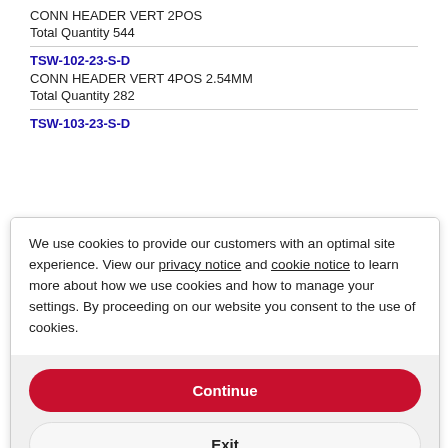CONN HEADER VERT 2POS
Total Quantity 544
TSW-102-23-S-D
CONN HEADER VERT 4POS 2.54MM
Total Quantity 282
TSW-103-23-S-D
We use cookies to provide our customers with an optimal site experience. View our privacy notice and cookie notice to learn more about how we use cookies and how to manage your settings. By proceeding on our website you consent to the use of cookies.
Continue
Exit
Privacy Notice